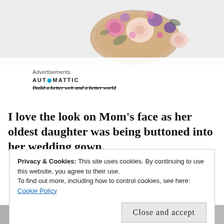[Figure (photo): Flower arrangement with pink, purple, and cream roses on a white background, shown from above on a wooden slice]
Advertisements
AUTOMATTIC
Build a better web and a better world
I love the look on Mom’s face as her oldest daughter was being buttoned into her wedding gown.
Privacy & Cookies: This site uses cookies. By continuing to use this website, you agree to their use.
To find out more, including how to control cookies, see here:
Cookie Policy
Close and accept
[Figure (photo): Black and white photo strip at the bottom showing people, partially visible]